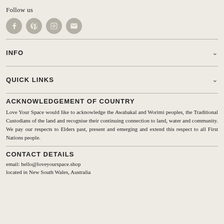Follow us
[Figure (illustration): Four social media icon circles: Facebook, Pinterest, Instagram, Email]
INFO
QUICK LINKS
ACKNOWLEDGEMENT OF COUNTRY
Love Your Space would like to acknowledge the Awabakal and Worimi peoples, the Traditional Custodians of the land and recognise their continuing connection to land, water and community. We pay our respects to Elders past, present and emerging and extend this respect to all First Nations people.
CONTACT DETAILS
email: hello@loveyourspace.shop
located in New South Wales, Australia